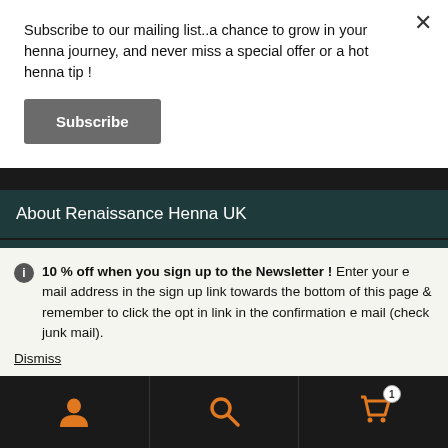Subscribe to our mailing list..a chance to grow in your henna journey, and never miss a special offer or a hot henna tip !
Subscribe
About Renaissance Henna UK
All our 100% all fully dyes are made from plants and henna. We have sourced and harvested the finest raw plants and herbs to colour your hair. All our hair dyes are chemical free...
ⓘ 10 % off when you sign up to the Newsletter ! Enter your e mail address in the sign up link towards the bottom of this page & remember to click the opt in link in the confirmation e mail (check junk mail).
Dismiss